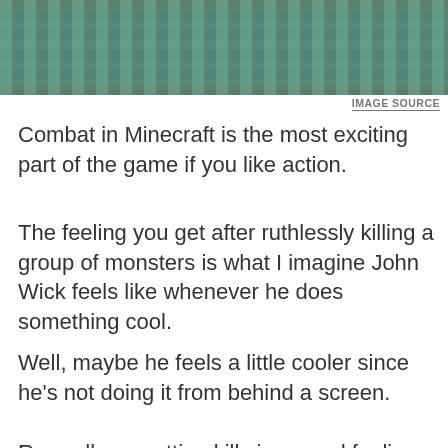[Figure (screenshot): Minecraft game screenshot showing a blocky scene with blue-green stone structures and brown/orange terrain on the sides]
IMAGE SOURCE
Combat in Minecraft is the most exciting part of the game if you like action.
The feeling you get after ruthlessly killing a group of monsters is what I imagine John Wick feels like whenever he does something cool.
Well, maybe he feels a little cooler since he’s not doing it from behind a screen.
Regardless, getting kills is a good feeling – and these mods exist to make that aspect of Minecraft even crazier!